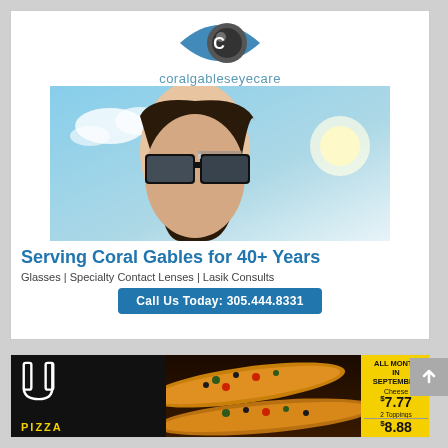[Figure (advertisement): Coral Gables Eye Care advertisement with logo (eye icon and text 'coralgableseyecare'), a photo of a woman wearing large black glasses against a blue sky background, bold blue headline 'Serving Coral Gables for 40+ Years', subtext 'Glasses | Specialty Contact Lenses | Lasik Consults', and a blue button 'Call Us Today: 305.444.8331']
[Figure (advertisement): Pizza advertisement with black left section showing stylized 'U' logo and 'PIZZA' text in yellow, center section with photo of flatbread pizzas, yellow right section with text 'ALL MONTH IN SEPTEMBER', Cheese $7.77, 2 Toppings $8.88]